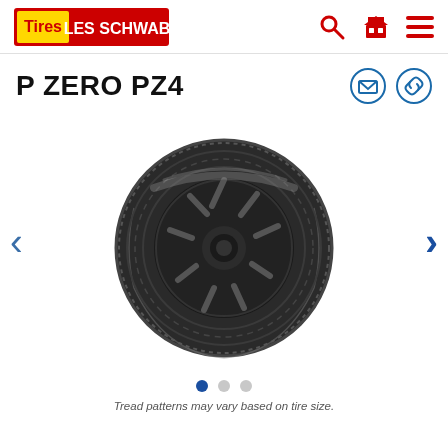Tires Les Schwab
P ZERO PZ4
[Figure (photo): Pirelli P Zero PZ4 tire on a black multi-spoke wheel, photographed at a 3/4 angle showing the tread and sidewall. Image shows a high-performance summer tire with directional tread pattern.]
Tread patterns may vary based on tire size.